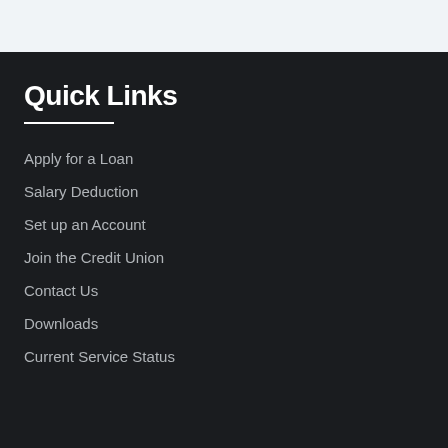Quick Links
Apply for a Loan
Salary Deduction
Set up an Account
Join the Credit Union
Contact Us
Downloads
Current Service Status